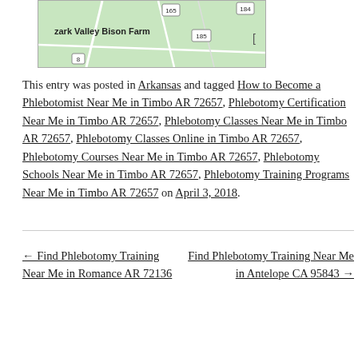[Figure (map): A map snippet showing Ozark Valley Bison Farm area with route markers 165, 184, 185, and 8 on a green background with roads.]
This entry was posted in Arkansas and tagged How to Become a Phlebotomist Near Me in Timbo AR 72657, Phlebotomy Certification Near Me in Timbo AR 72657, Phlebotomy Classes Near Me in Timbo AR 72657, Phlebotomy Classes Online in Timbo AR 72657, Phlebotomy Courses Near Me in Timbo AR 72657, Phlebotomy Schools Near Me in Timbo AR 72657, Phlebotomy Training Programs Near Me in Timbo AR 72657 on April 3, 2018.
← Find Phlebotomy Training Near Me in Romance AR 72136
Find Phlebotomy Training Near Me in Antelope CA 95843 →